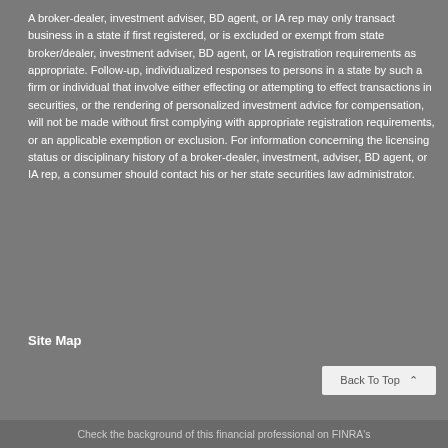A broker-dealer, investment adviser, BD agent, or IA rep may only transact business in a state if first registered, or is excluded or exempt from state broker/dealer, investment adviser, BD agent, or IA registration requirements as appropriate. Follow-up, individualized responses to persons in a state by such a firm or individual that involve either effecting or attempting to effect transactions in securities, or the rendering of personalized investment advice for compensation, will not be made without first complying with appropriate registration requirements, or an applicable exemption or exclusion. For information concerning the licensing status or disciplinary history of a broker-dealer, investment, adviser, BD agent, or IA rep, a consumer should contact his or her state securities law administrator.
Site Map
Check the background of this financial professional on FINRA's